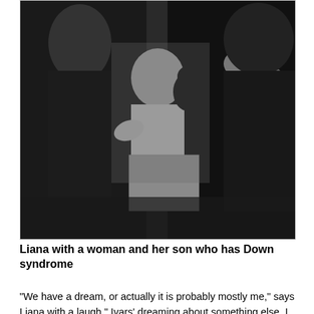[Figure (photo): Black and white photograph of Liana with a woman and her son who has Down syndrome. The photo shows people together, with a baby or young child holding a black stuffed toy/doll.]
Liana with a woman and her son who has Down syndrome
“We have a dream, or actually it is probably mostly me,” says Liana with a laugh,” Ivars’ dreaming about something else. I would like to open a short term accommodation, where I can work more directly with the children, home where I can receive four to five children at a time and give their families an opportunity to rest for a few days. There is nothing existing in Latvia like that.
We want in our work to show how to work correctly with the children. Today, for example, there is not even a place where mothers can come and talk to a social worker or counselor. I